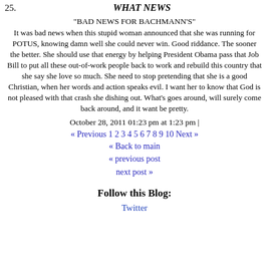25. WHAT NEWS
"BAD NEWS FOR BACHMANN'S"
It was bad news when this stupid woman announced that she was running for POTUS, knowing damn well she could never win. Good riddance. The sooner the better. She should use that energy by helping President Obama pass that Job Bill to put all these out-of-work people back to work and rebuild this country that she say she love so much. She need to stop pretending that she is a good Christian, when her words and action speaks evil. I want her to know that God is not pleased with that crash she dishing out. What's goes around, will surely come back around, and it want be pretty.
October 28, 2011 01:23 pm at 1:23 pm |
« Previous 1 2 3 4 5 6 7 8 9 10 Next »
« Back to main
« previous post
next post »
Follow this Blog:
Twitter